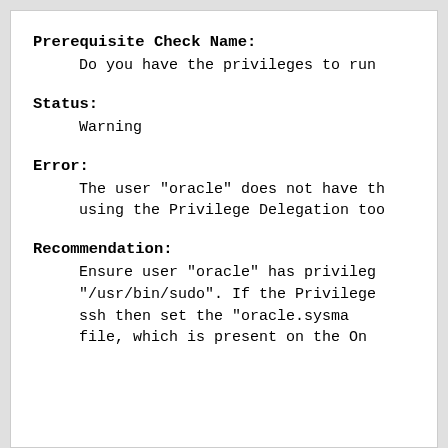Prerequisite Check Name:
Do you have the privileges to run
Status:
Warning
Error:
The user "oracle" does not have th using the Privilege Delegation too
Recommendation:
Ensure user "oracle" has privilege "/usr/bin/sudo". If the Privilege ssh then set the "oracle.sysma file, which is present on the On